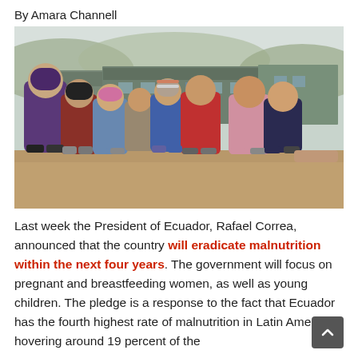By Amara Channell
[Figure (photo): Group of approximately 7-8 young children standing together outdoors in front of a building, wearing winter/cool weather clothing including hoodies, hats, and jackets. The setting appears to be a rural area in Ecuador.]
Last week the President of Ecuador, Rafael Correa, announced that the country will eradicate malnutrition within the next four years. The government will focus on pregnant and breastfeeding women, as well as young children. The pledge is a response to the fact that Ecuador has the fourth highest rate of malnutrition in Latin America, hovering around 19 percent of the